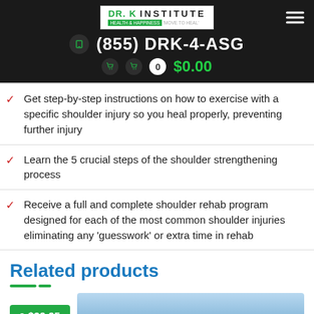[Figure (logo): DR.K INSTITUTE Health & Happiness logo with navigation header showing phone number (855) DRK-4-ASG and cart showing $0.00]
Get step-by-step instructions on how to exercise with a specific shoulder injury so you heal properly, preventing further injury
Learn the 5 crucial steps of the shoulder strengthening process
Receive a full and complete shoulder rehab program designed for each of the most common shoulder injuries eliminating any 'guesswork' or extra time in rehab
Related products
$39.95